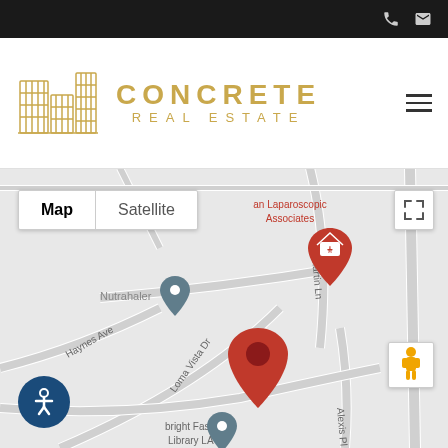Concrete Real Estate - navigation bar with phone and email icons
[Figure (logo): Concrete Real Estate logo with golden building icon and text CONCRETE REAL ESTATE]
[Figure (map): Google Maps view showing a location pin in a neighborhood with streets including Haynes Ave, Loma Vista Dr, Martin Ln, Alexis Pl, and landmarks Nutrahaler, Albright Fashion Library LA, and American Laparoscopic Associates. Map toggle shows Map and Satellite options. A red pin marks the property location.]